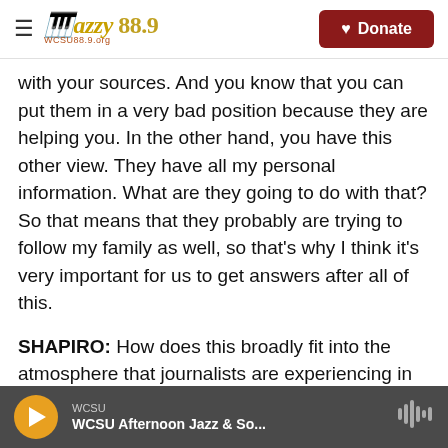≡ Jazzy 88.9 WCSU88.9.org | Donate
with your sources. And you know that you can put them in a very bad position because they are helping you. In the other hand, you have this other view. They have all my personal information. What are they going to do with that? So that means that they probably are trying to follow my family as well, so that's why I think it's very important for us to get answers after all of this.
SHAPIRO: How does this broadly fit into the atmosphere that journalists are experiencing in El Salvador? Is there a risk of the political environment becoming unsustainable for a digital
WCSU | WCSU Afternoon Jazz & So...